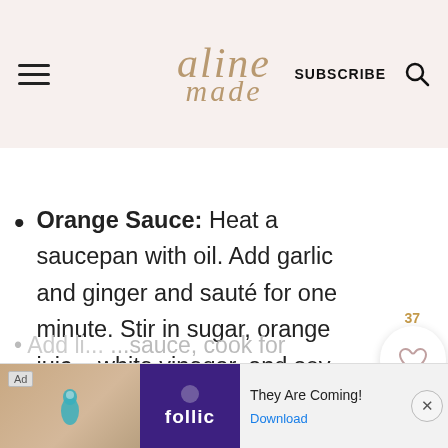aline made | SUBSCRIBE
Orange Sauce: Heat a saucepan with oil. Add garlic and ginger and sauté for one minute. Stir in sugar, orange juice, white vinegar, and soy sauce, cook for 5 minutes.
[Figure (screenshot): Ad banner: Rollic game ad with text 'They Are Coming!' and Download link]